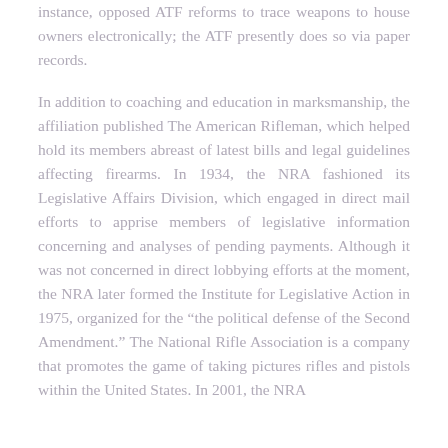instance, opposed ATF reforms to trace weapons to house owners electronically; the ATF presently does so via paper records.
In addition to coaching and education in marksmanship, the affiliation published The American Rifleman, which helped hold its members abreast of latest bills and legal guidelines affecting firearms. In 1934, the NRA fashioned its Legislative Affairs Division, which engaged in direct mail efforts to apprise members of legislative information concerning and analyses of pending payments. Although it was not concerned in direct lobbying efforts at the moment, the NRA later formed the Institute for Legislative Action in 1975, organized for the “the political defense of the Second Amendment.” The National Rifle Association is a company that promotes the game of taking pictures rifles and pistols within the United States. In 2001, the NRA